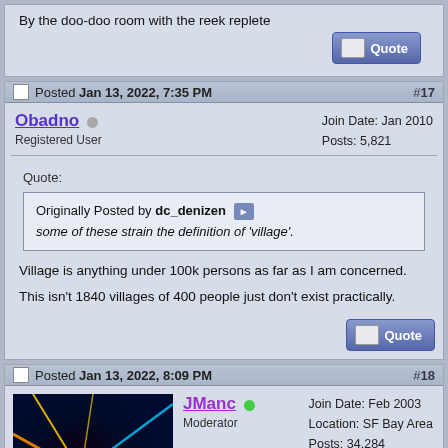By the doo-doo room with the reek replete
Posted Jan 13, 2022, 7:35 PM #17
Obadno
Registered User
Join Date: Jan 2010
Posts: 5,821
Quote:
Originally Posted by dc_denizen
some of these strain the definition of 'village'.
Village is anything under 100k persons as far as I am concerned.

This isn't 1840 villages of 400 people just don't exist practically.
Posted Jan 13, 2022, 8:09 PM #18
[Figure (photo): Avatar image of user JManc showing colorful light rays on dark background]
JManc
Moderator
Join Date: Feb 2003
Location: SF Bay Area
Posts: 34,284